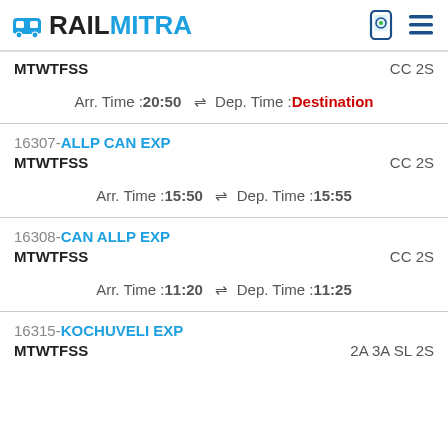RAILMITRA
MTWTFSS   CC 2S
Arr. Time :20:50  ⇌ Dep. Time :Destination
16307-ALLP CAN EXP
MTWTFSS   CC 2S
Arr. Time :15:50  ⇌ Dep. Time :15:55
16308-CAN ALLP EXP
MTWTFSS   CC 2S
Arr. Time :11:20  ⇌ Dep. Time :11:25
16315-KOCHUVELI EXP
MTWTFSS   2A 3A SL 2S